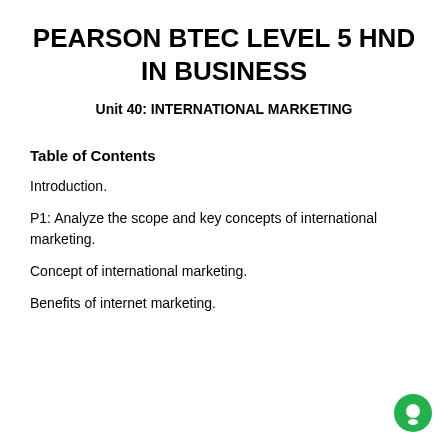PEARSON BTEC LEVEL 5 HND IN BUSINESS
Unit 40: INTERNATIONAL MARKETING
Table of Contents
Introduction.
P1: Analyze the scope and key concepts of international marketing.
Concept of international marketing.
Benefits of internet marketing.